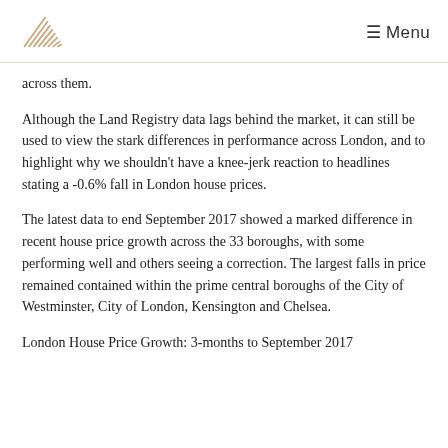≡ Menu
across them.
Although the Land Registry data lags behind the market, it can still be used to view the stark differences in performance across London, and to highlight why we shouldn't have a knee-jerk reaction to headlines stating a -0.6% fall in London house prices.
The latest data to end September 2017 showed a marked difference in recent house price growth across the 33 boroughs, with some performing well and others seeing a correction. The largest falls in price remained contained within the prime central boroughs of the City of Westminster, City of London, Kensington and Chelsea.
London House Price Growth: 3-months to September 2017